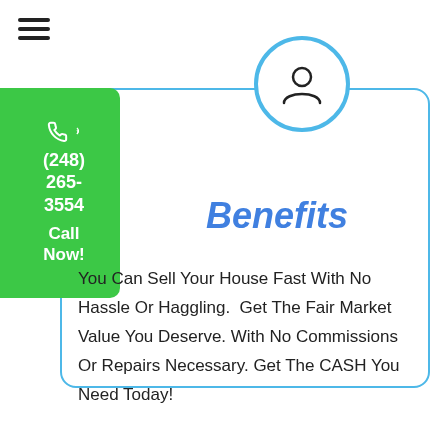[Figure (infographic): Hamburger menu icon (three horizontal lines) in top left corner]
(248) 265-3554 Call Now!
[Figure (illustration): User/person avatar icon inside a circular border with teal/blue outline]
Benefits
You Can Sell Your House Fast With No Hassle Or Haggling.  Get The Fair Market Value You Deserve. With No Commissions Or Repairs Necessary. Get The CASH You Need Today!